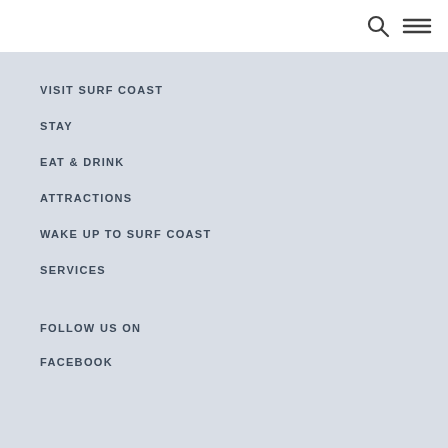VISIT SURF COAST
STAY
EAT & DRINK
ATTRACTIONS
WAKE UP TO SURF COAST
SERVICES
FOLLOW US ON
FACEBOOK